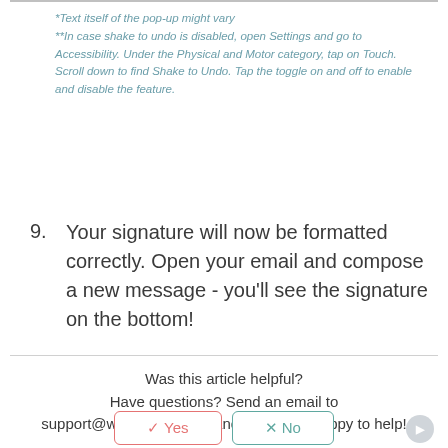*Text itself of the pop-up might vary
**In case shake to undo is disabled, open Settings and go to Accessibility. Under the Physical and Motor category, tap on Touch. Scroll down to find Shake to Undo. Tap the toggle on and off to enable and disable the feature.
9. Your signature will now be formatted correctly. Open your email and compose a new message - you'll see the signature on the bottom!
Was this article helpful?
Have questions? Send an email to support@wisestamp.com and we will be happy to help!